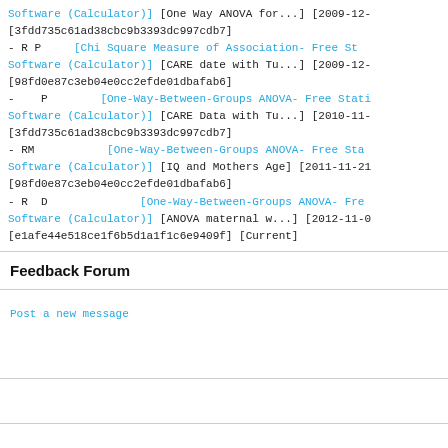Software (Calculator)] [One Way ANOVA for...] [2009-12-
[3fdd735c61ad38cbc9b3393dc997cdb7]
- R P    [Chi Square Measure of Association- Free St
Software (Calculator)] [CARE date with Tu...] [2009-12-
[98fd0e87c3eb04e0cc2efde01dbafab6]
-    P        [One-Way-Between-Groups ANOVA- Free Stati
Software (Calculator)] [CARE Data with Tu...] [2010-11-
[3fdd735c61ad38cbc9b3393dc997cdb7]
- RM           [One-Way-Between-Groups ANOVA- Free Sta
Software (Calculator)] [IQ and Mothers Age] [2011-11-21
[98fd0e87c3eb04e0cc2efde01dbafab6]
- R  D              [One-Way-Between-Groups ANOVA- Fre
Software (Calculator)] [ANOVA maternal w...] [2012-11-0
[e1afe44e518ce1f6b5d1a1f1c6e9409f] [Current]
Feedback Forum
Post a new message